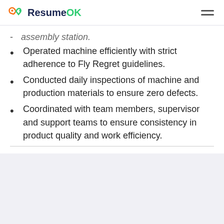ResumeOK
assembly station.
Operated machine efficiently with strict adherence to Fly Regret guidelines.
Conducted daily inspections of machine and production materials to ensure zero defects.
Coordinated with team members, supervisor and support teams to ensure consistency in product quality and work efficiency.